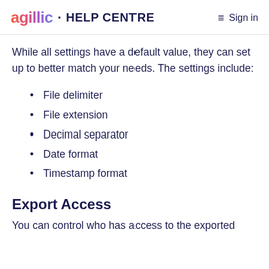agillic · HELP CENTRE  ≡  Sign in
While all settings have a default value, they can set up to better match your needs. The settings include:
File delimiter
File extension
Decimal separator
Date format
Timestamp format
Export Access
You can control who has access to the exported